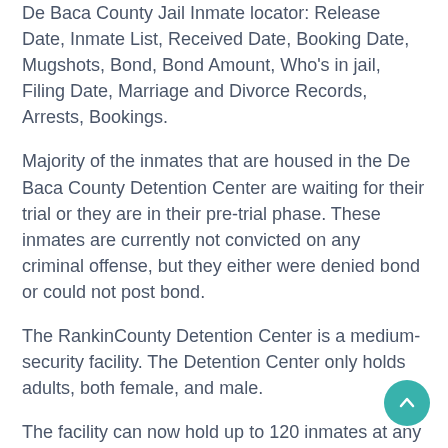De Baca County Jail Inmate locator: Release Date, Inmate List, Received Date, Booking Date, Mugshots, Bond, Bond Amount, Who's in jail, Filing Date, Marriage and Divorce Records, Arrests, Bookings.
Majority of the inmates that are housed in the De Baca County Detention Center are waiting for their trial or they are in their pre-trial phase. These inmates are currently not convicted on any criminal offense, but they either were denied bond or could not post bond.
The RankinCounty Detention Center is a medium-security facility. The Detention Center only holds adults, both female, and male.
The facility can now hold up to 120 inmates at any given time.